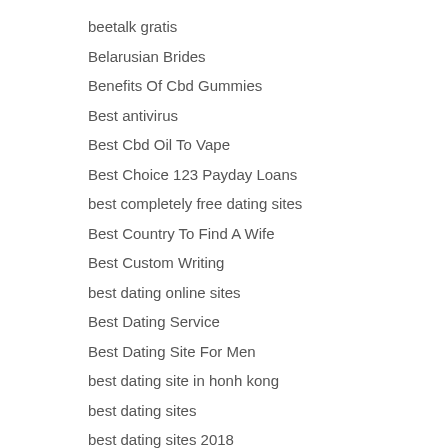beetalk gratis
Belarusian Brides
Benefits Of Cbd Gummies
Best antivirus
Best Cbd Oil To Vape
Best Choice 123 Payday Loans
best completely free dating sites
Best Country To Find A Wife
Best Custom Writing
best dating online sites
Best Dating Service
Best Dating Site For Men
best dating site in honh kong
best dating sites
best dating sites 2018